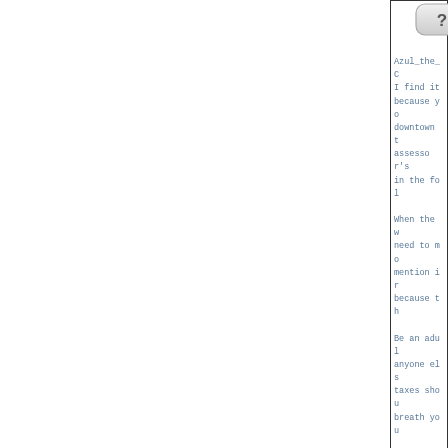[Figure (other): Question mark button icon at top]
Azul_the_C
I find it
because yo
downtown t
assessor's
in the fol

When the w
need to mo
mention ir
because th

Be an adul
anyone els
taxes shou
breath you
[Figure (other): Blue upward arrow navigation button]
yorkster
Home away from home
Re: 2017 Reval ~ Prop
Funny, those of us ap